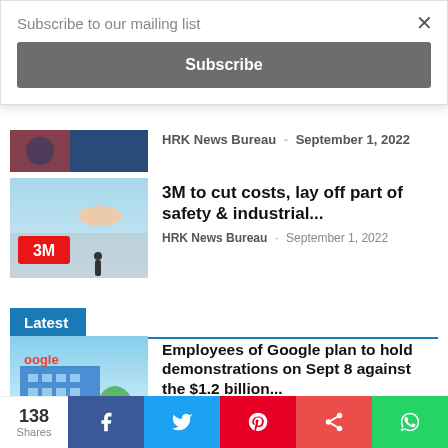Subscribe to our mailing list
Subscribe
HRK News Bureau - September 1, 2022
3M to cut costs, lay off part of safety & industrial...
HRK News Bureau - September 1, 2022
Latest
Employees of Google plan to hold demonstrations on Sept 8 against the $1.2 billion...
HRK News Bureau - September 1, 2022
138 Shares